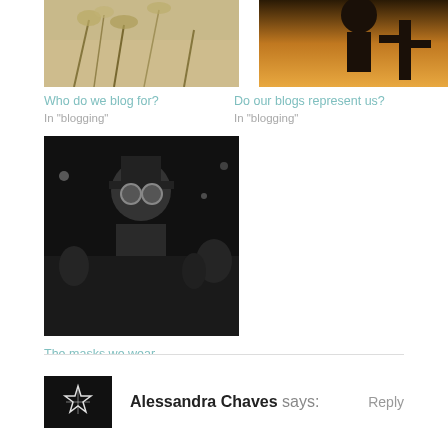[Figure (photo): Photo of grasses/plants in warm light - top left]
Who do we blog for?
In "blogging"
[Figure (photo): Photo of silhouette figure against sunset sky - top right]
Do our blogs represent us?
In "blogging"
[Figure (photo): Black and white photo of masked figure at parade/carnival]
The masks we wear
In "photography"
Alessandra Chaves says:
Reply